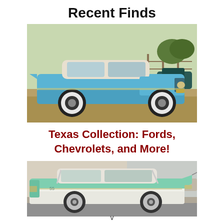Recent Finds
[Figure (photo): Vintage blue and white two-tone classic car (1950s Chevrolet) parked on dry grass/dirt, white wall tires, outdoors in a field with fence and trees in background.]
Texas Collection: Fords, Chevrolets, and More!
[Figure (photo): Vintage mint green and white two-tone classic car (late 1950s) parked on a street in front of a building, chrome trim visible, side profile view.]
v